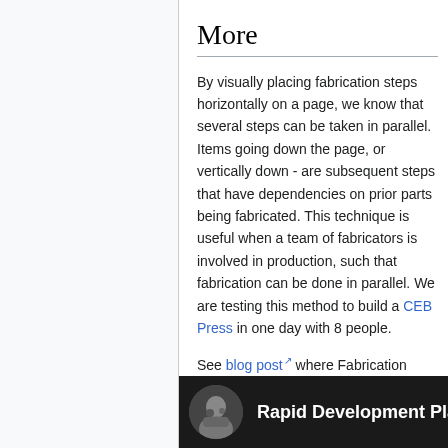More
By visually placing fabrication steps horizontally on a page, we know that several steps can be taken in parallel. Items going down the page, or vertically down - are subsequent steps that have dependencies on prior parts being fabricated. This technique is useful when a team of fabricators is involved in production, such that fabrication can be done in parallel. We are testing this method to build a CEB Press in one day with 8 people.
See blog post where Fabrication Diagram is first introduced.
[Figure (photo): Dark image strip showing a circular avatar photo and the text 'Rapid Development Platfo...' in white on a dark background]